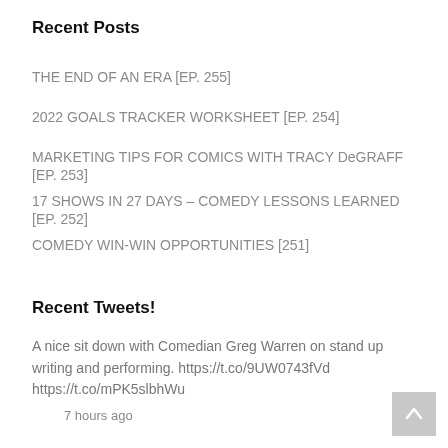Recent Posts
THE END OF AN ERA [EP. 255]
2022 GOALS TRACKER WORKSHEET [EP. 254]
MARKETING TIPS FOR COMICS WITH TRACY DeGRAFF [EP. 253]
17 SHOWS IN 27 DAYS – COMEDY LESSONS LEARNED [EP. 252]
COMEDY WIN-WIN OPPORTUNITIES [251]
Recent Tweets!
A nice sit down with Comedian Greg Warren on stand up writing and performing. https://t.co/9UW0743fVd https://t.co/mPK5slbhWu
7 hours ago